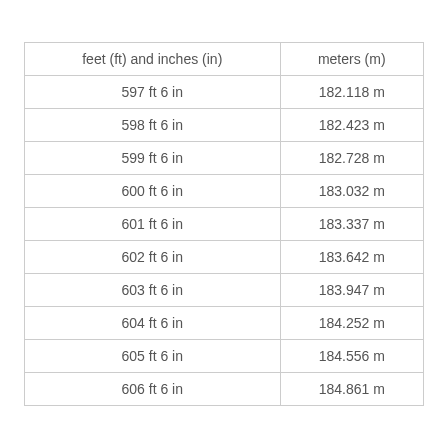| feet (ft) and inches (in) | meters (m) |
| --- | --- |
| 597 ft 6 in | 182.118 m |
| 598 ft 6 in | 182.423 m |
| 599 ft 6 in | 182.728 m |
| 600 ft 6 in | 183.032 m |
| 601 ft 6 in | 183.337 m |
| 602 ft 6 in | 183.642 m |
| 603 ft 6 in | 183.947 m |
| 604 ft 6 in | 184.252 m |
| 605 ft 6 in | 184.556 m |
| 606 ft 6 in | 184.861 m |